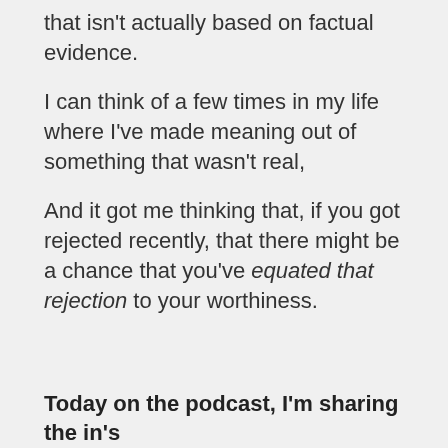that isn't actually based on factual evidence.
I can think of a few times in my life where I've made meaning out of something that wasn't real,
And it got me thinking that, if you got rejected recently, that there might be a chance that you've equated that rejection to your worthiness.
Today on the podcast, I'm sharing the in's